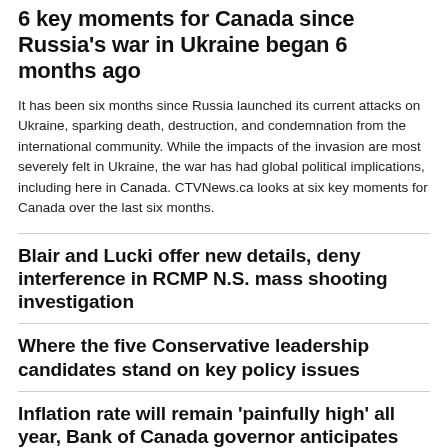6 key moments for Canada since Russia's war in Ukraine began 6 months ago
It has been six months since Russia launched its current attacks on Ukraine, sparking death, destruction, and condemnation from the international community. While the impacts of the invasion are most severely felt in Ukraine, the war has had global political implications, including here in Canada. CTVNews.ca looks at six key moments for Canada over the last six months.
Blair and Lucki offer new details, deny interference in RCMP N.S. mass shooting investigation
Where the five Conservative leadership candidates stand on key policy issues
Inflation rate will remain 'painfully high' all year, Bank of Canada governor anticipates